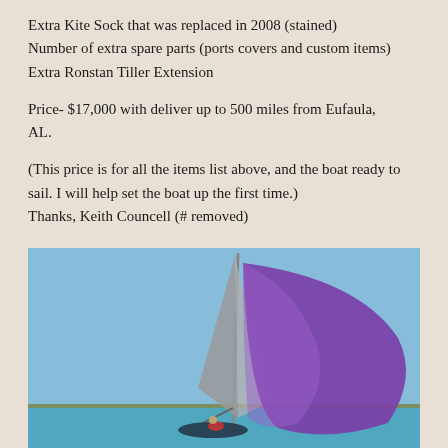Extra Kite Sock that was replaced in 2008 (stained)
Number of extra spare parts (ports covers and custom items)
Extra Ronstan Tiller Extension
Price- $17,000 with deliver up to 500 miles from Eufaula, AL.
(This price is for all the items list above, and the boat ready to sail. I will help set the boat up the first time.)
Thanks, Keith Councell (# removed)
[Figure (photo): Photograph of a sailing boat with a large purple spinnaker sail deployed, sailing on open water under a clear blue sky. A sailor in a red life jacket is visible at the helm.]